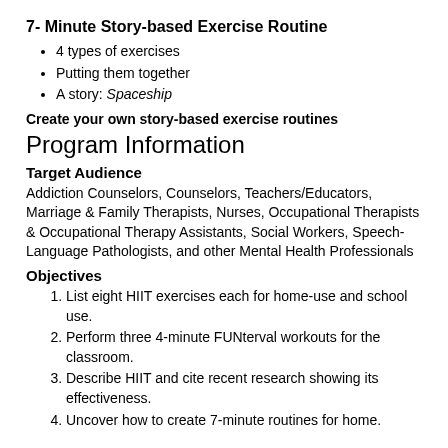7- Minute Story-based Exercise Routine
4 types of exercises
Putting them together
A story: Spaceship
Create your own story-based exercise routines
Program Information
Target Audience
Addiction Counselors, Counselors, Teachers/Educators, Marriage & Family Therapists, Nurses, Occupational Therapists & Occupational Therapy Assistants, Social Workers, Speech-Language Pathologists, and other Mental Health Professionals
Objectives
List eight HIIT exercises each for home-use and school use.
Perform three 4-minute FUNterval workouts for the classroom.
Describe HIIT and cite recent research showing its effectiveness.
Uncover how to create 7-minute routines for home.